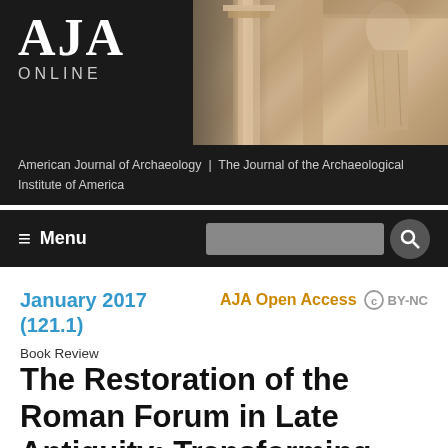[Figure (logo): AJA Online logo on dark background with classical sculpture/column banner image]
American Journal of Archaeology | The Journal of the Archaeological Institute of America
≡  Menu
January 2017 (121.1)     AJA Open Access  CC BY-NC
Book Review
The Restoration of the Roman Forum in Late Antiquity: Transforming Public Space
By Susan Kolb (The Archaeological Botanic Institute, Cambridge, Cambridge...